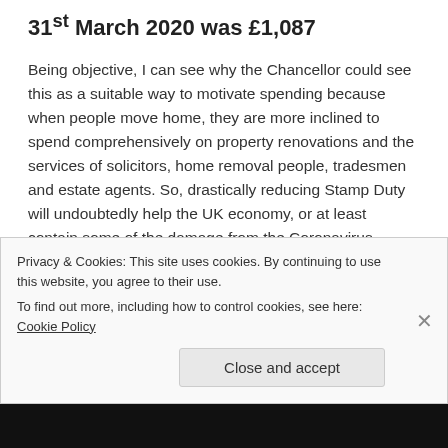31st March 2020 was £1,087
Being objective, I can see why the Chancellor could see this as a suitable way to motivate spending because when people move home, they are more inclined to spend comprehensively on property renovations and the services of solicitors, home removal people, tradesmen and estate agents. So, drastically reducing Stamp Duty will undoubtedly help the UK economy, or at least contain some of the damage from the Coronavirus.
Also, the experience of being in lockdown will have confirmed to many Blackpool people that they need a bigger home or one with a bigger garden. I also suspect
Privacy & Cookies: This site uses cookies. By continuing to use this website, you agree to their use.
To find out more, including how to control cookies, see here: Cookie Policy
Close and accept